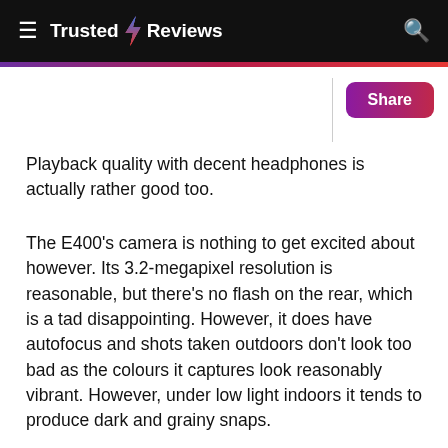≡ Trusted ⚡ Reviews 🔍
Playback quality with decent headphones is actually rather good too.
The E400's camera is nothing to get excited about however. Its 3.2-megapixel resolution is reasonable, but there's no flash on the rear, which is a tad disappointing. However, it does have autofocus and shots taken outdoors don't look too bad as the colours it captures look reasonably vibrant. However, under low light indoors it tends to produce dark and grainy snaps.
We have no complaints about call quality, though, as the E400 performed without any problems during our test…